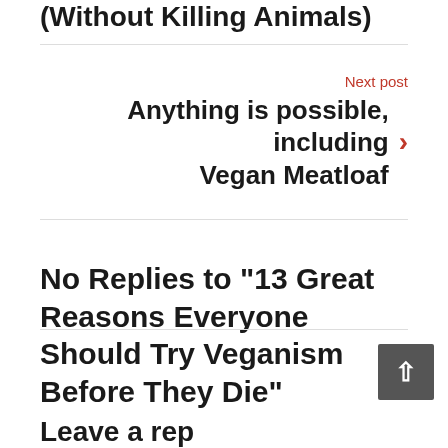(Without Killing Animals)
Next post
Anything is possible, including Vegan Meatloaf
No Replies to "13 Great Reasons Everyone Should Try Veganism Before They Die"
Leave a reply